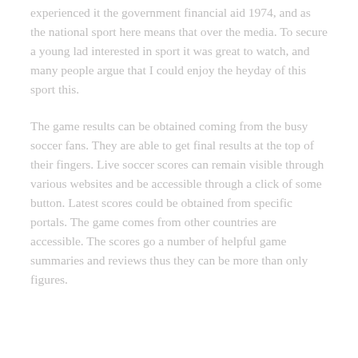experienced it the government financial aid 1974, and as the national sport here means that over the media. To secure a young lad interested in sport it was great to watch, and many people argue that I could enjoy the heyday of this sport this.
The game results can be obtained coming from the busy soccer fans. They are able to get final results at the top of their fingers. Live soccer scores can remain visible through various websites and be accessible through a click of some button. Latest scores could be obtained from specific portals. The game comes from other countries are accessible. The scores go a number of helpful game summaries and reviews thus they can be more than only figures.